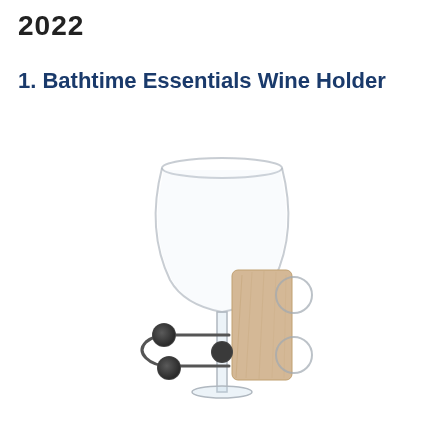2022
1. Bathtime Essentials Wine Holder
[Figure (photo): A bathtime wine holder product consisting of a clear wine glass held by a wooden block (light oak) mounted with suction cups to a wall. The holder has a metal wire cradle with dark charcoal felt-tipped ball ends that grip the wine glass stem.]